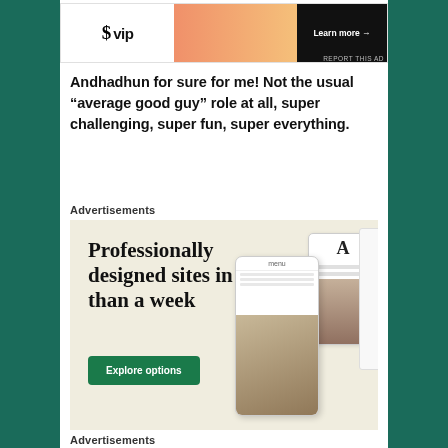[Figure (screenshot): Top advertisement banner with WordPress VIP logo on white left, orange-pink gradient center, and dark 'Learn more →' button on right]
Andhadhun for sure for me! Not the usual "average good guy" role at all, super challenging, super fun, super everything.
Advertisements
[Figure (screenshot): WordPress advertisement: cream/beige background with large serif text 'Professionally designed sites in less than a week', green 'Explore options' button, and website/device mockups on the right]
Advertisements
[Figure (screenshot): Macy's advertisement: red background with 'KISS BORING LIPS GOODBYE' text, woman's face with red lipstick, 'SHOP NOW' and Macy's star logo]